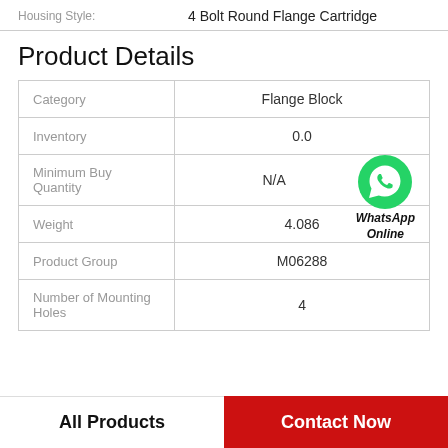Housing Style:    4 Bolt Round Flange Cartridge
Product Details
|  |  |
| --- | --- |
| Category | Flange Block |
| Inventory | 0.0 |
| Minimum Buy Quantity | N/A |
| Weight | 4.086 |
| Product Group | M06288 |
| Number of Mounting Holes | 4 |
All Products
Contact Now